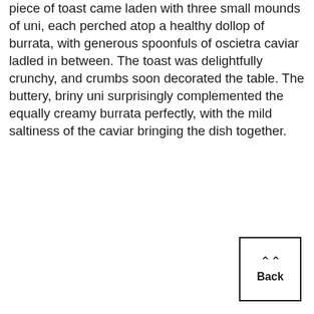piece of toast came laden with three small mounds of uni, each perched atop a healthy dollop of burrata, with generous spoonfuls of oscietra caviar ladled in between. The toast was delightfully crunchy, and crumbs soon decorated the table. The buttery, briny uni surprisingly complemented the equally creamy burrata perfectly, with the mild saltiness of the caviar bringing the dish together.
[Figure (other): A 'Back' navigation button with a double upward chevron icon above the word 'Back', enclosed in a rectangular border.]